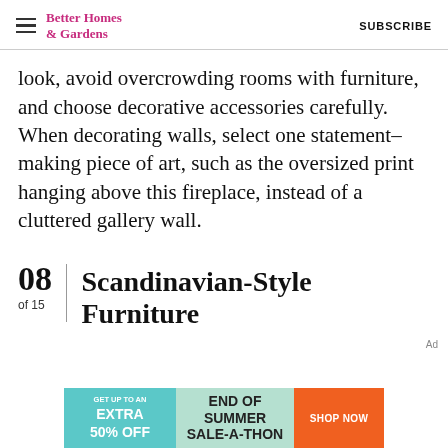Better Homes & Gardens | SUBSCRIBE
look, avoid overcrowding rooms with furniture, and choose decorative accessories carefully. When decorating walls, select one statement-making piece of art, such as the oversized print hanging above this fireplace, instead of a cluttered gallery wall.
08 of 15 | Scandinavian-Style Furniture
Ad
[Figure (infographic): Advertisement banner: GET UP TO AN EXTRA 50% OFF | END OF SUMMER SALE-A-THON | SHOP NOW]